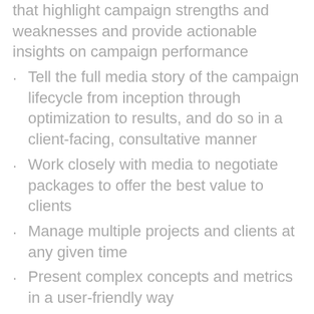that highlight campaign strengths and weaknesses and provide actionable insights on campaign performance
Tell the full media story of the campaign lifecycle from inception through optimization to results, and do so in a client-facing, consultative manner
Work closely with media to negotiate packages to offer the best value to clients
Manage multiple projects and clients at any given time
Present complex concepts and metrics in a user-friendly way
Communicating any changes to the field and technical teams relating to our tracking methodology
Looks at our products and associated available metrics - and advises how to use